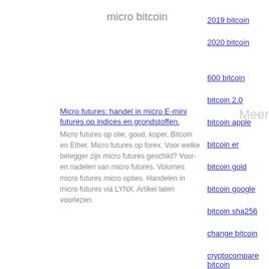micro bitcoin
2019 bitcoin
2020 bitcoin
[Figure (screenshot): Search result snippet with link and body text]
Micro futures: handel in micro E-mini futures op indices en grondstoffen. Micro futures op olie, goud, koper, Bitcoin en Ether. Micro futures op forex. Voor welke belegger zijn micro futures geschikt? Voor- en nadelen van micro futures. Volumes micro futures micro opties. Handelen in micro futures via LYNX. Artikel laten voorlezen.
600 bitcoin
bitcoin 2.0
bitcoin apple
bitcoin er
bitcoin gold
bitcoin google
bitcoin sha256
change bitcoin
micro bitcoin
Retail trends: Crypto, micro-fulfillment, the Edge and labor optimization Retail Technology Trends Retail Customer Experience. This is a huge portion
cryptocompare bitcoin
en bitcoin